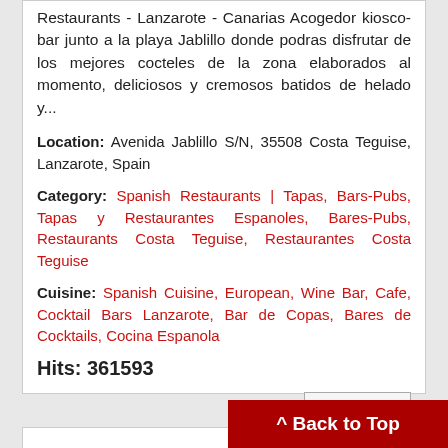Restaurants - Lanzarote - Canarias Acogedor kiosco-bar junto a la playa Jablillo donde podras disfrutar de los mejores cocteles de la zona elaborados al momento, deliciosos y cremosos batidos de helado y...
Location: Avenida Jablillo S/N, 35508 Costa Teguise, Lanzarote, Spain
Category: Spanish Restaurants | Tapas, Bars-Pubs, Tapas y Restaurantes Espanoles, Bares-Pubs, Restaurants Costa Teguise, Restaurantes Costa Teguise
Cuisine: Spanish Cuisine, European, Wine Bar, Cafe, Cocktail Bars Lanzarote, Bar de Copas, Bares de Cocktails, Cocina Espanola
Hits: 361593
Read more
^ Back to Top